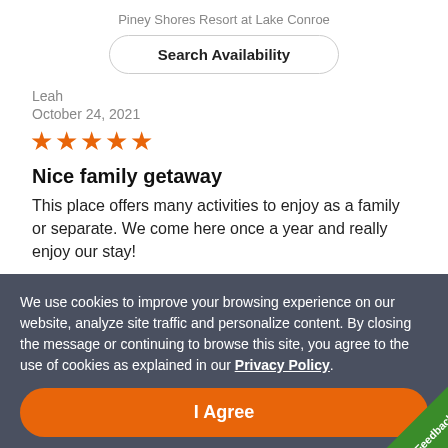Piney Shores Resort at Lake Conroe
Search Availability
Leah
October 24, 2021
★★★★★
Nice family getaway
This place offers many activities to enjoy as a family or separate. We come here once a year and really enjoy our stay!
We use cookies to improve your browsing experience on our website, analyze site traffic and personalize content. By closing the message or continuing to browse this site, you agree to the use of cookies as explained in our Privacy Policy.
I Agree